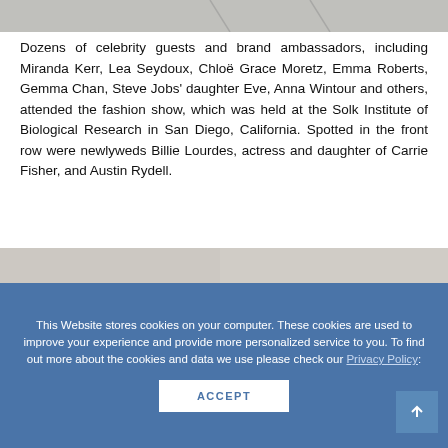[Figure (photo): Top portion of a photo, appears to be an architectural or outdoor scene with grey tones]
Dozens of celebrity guests and brand ambassadors, including Miranda Kerr, Lea Seydoux, Chloë Grace Moretz, Emma Roberts, Gemma Chan, Steve Jobs' daughter Eve, Anna Wintour and others, attended the fashion show, which was held at the Solk Institute of Biological Research in San Diego, California. Spotted in the front row were newlyweds Billie Lourdes, actress and daughter of Carrie Fisher, and Austin Rydell.
[Figure (photo): Lower portion of a photo showing a person with dark hair against a grey concrete wall background]
This Website stores cookies on your computer. These cookies are used to improve your experience and provide more personalized service to you. To find out more about the cookies and data we use please check our Privacy Policy: